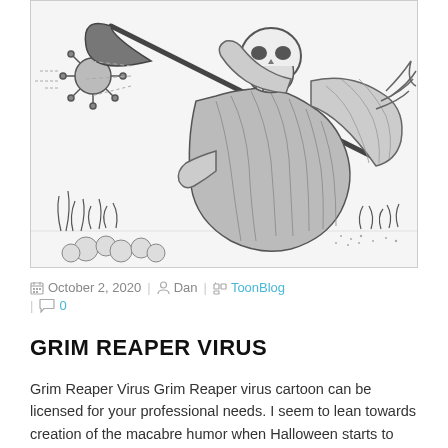[Figure (illustration): Black and white cartoon illustration of the Grim Reaper swinging a scythe, with a coronavirus/virus particle depicted fleeing or being struck. The Grim Reaper is drawn in a classic cartoon style with robes and skeletal face, holding a large scythe horizontally. Small virus particles and grass/plants are visible in the lower left corner.]
October 2, 2020 | Dan | ToonBlog | 0
GRIM REAPER VIRUS
Grim Reaper Virus Grim Reaper virus cartoon can be licensed for your professional needs. I seem to lean towards creation of the macabre humor when Halloween starts to come around. Especially considering the fact there is also a pandemic to contend with. Exactly how